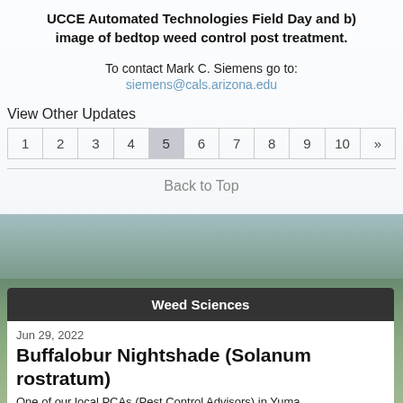UCCE Automated Technologies Field Day and b) image of bedtop weed control post treatment.
To contact Mark C. Siemens go to:
siemens@cals.arizona.edu
View Other Updates
| 1 | 2 | 3 | 4 | 5 | 6 | 7 | 8 | 9 | 10 | » |
| --- | --- | --- | --- | --- | --- | --- | --- | --- | --- | --- |
|  |
Back to Top
Weed Sciences
Jun 29, 2022
Buffalobur Nightshade (Solanum rostratum)
One of our local PCAs (Pest Control Advisors) in Yuma,